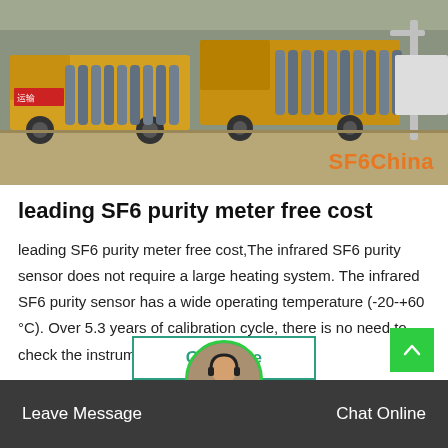[Figure (photo): Industrial scene with yellow trucks and rows of gray gas cylinders lined up outdoors on a construction or industrial site. SF6China watermark in orange text at bottom right.]
leading SF6 purity meter free cost
leading SF6 purity meter free cost,The infrared SF6 purity sensor does not require a large heating system. The infrared SF6 purity sensor has a wide operating temperature (-20-+60 °C). Over 5.3 years of calibration cycle, there is no need to check the instrumen…
Get Price
Leave Message
Chat Online